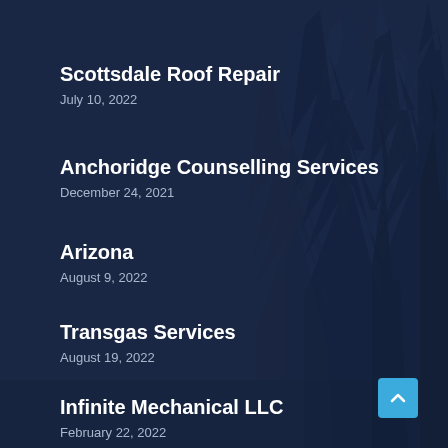[Figure (illustration): Dark navy blue forest background with silhouetted evergreen/pine trees creating a layered, atmospheric backdrop]
Scottsdale Roof Repair
July 10, 2022
Anchoridge Counselling Services
December 24, 2021
Arizona
August 9, 2022
Transgas Services
August 19, 2022
Infinite Mechanical LLC
February 22, 2022